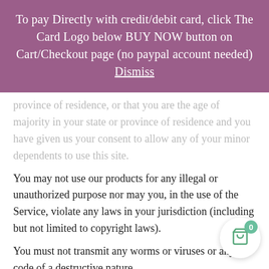To pay Directly with credit/debit card, click The Card Logo below BUY NOW button on Cart/Checkout page (no paypal account needed) Dismiss
province of residence, or that you are the age of majority in your state or province of residence and you have given us your consent to allow any of your minor dependents to use this site.
You may not use our products for any illegal or unauthorized purpose nor may you, in the use of the Service, violate any laws in your jurisdiction (including but not limited to copyright laws).
You must not transmit any worms or viruses or any code of a destructive nature.
A breach or violation of any of the Terms will result in an immediate termination of your Services.